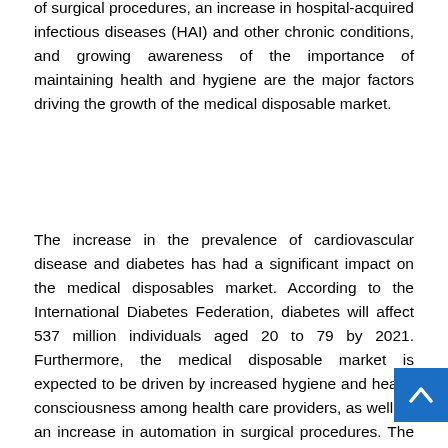of surgical procedures, an increase in hospital-acquired infectious diseases (HAI) and other chronic conditions, and growing awareness of the importance of maintaining health and hygiene are the major factors driving the growth of the medical disposable market.
The increase in the prevalence of cardiovascular disease and diabetes has had a significant impact on the medical disposables market. According to the International Diabetes Federation, diabetes will affect 537 million individuals aged 20 to 79 by 2021. Furthermore, the medical disposable market is expected to be driven by increased hygiene and health consciousness among health care providers, as well as an increase in automation in surgical procedures. The rising rate of infection acquired during surgical procedures and maternity care has increased awareness regarding the importance of safety and hygiene. In contrast, an increase in waste